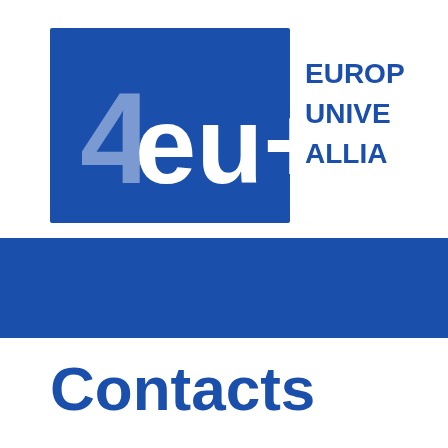[Figure (logo): 4eu+ European University Alliance logo: blue rectangle with '4eu+' text in white and light blue, with 'EUROPEAN UNIVERSITY ALLIANCE' text in blue to the right]
[Figure (other): Solid blue horizontal banner/bar spanning the full width of the page]
Contacts